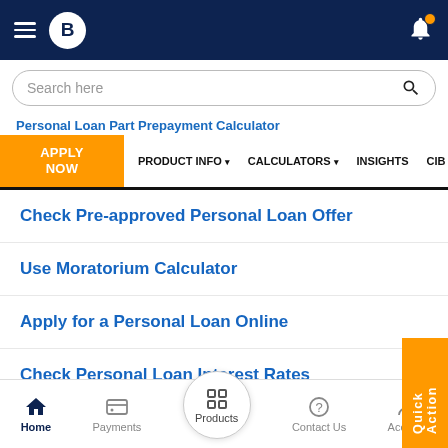[Figure (screenshot): Mobile banking app top navigation bar with hamburger menu, Bajaj Finserv logo circle, and bell notification icon on dark navy background]
Search here
Personal Loan Part Prepayment Calculator
APPLY NOW
PRODUCT INFO ▾  CALCULATORS ▾  INSIGHTS  CIB
Check Pre-approved Personal Loan Offer
Use Moratorium Calculator
Apply for a Personal Loan Online
Check Personal Loan Interest Rates
Get a Personal Loan up to Rs.25 Lakh
Quick Action
Home  Payments  Products  Contact Us  Account